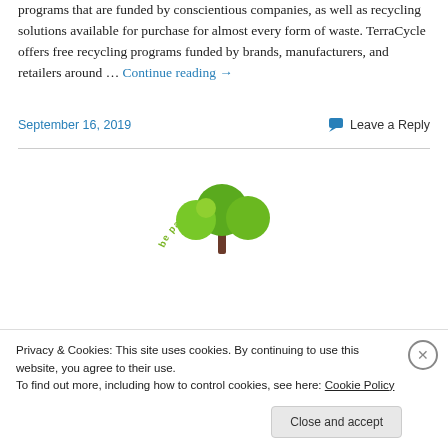programs that are funded by conscientious companies, as well as recycling solutions available for purchase for almost every form of waste. TerraCycle offers free recycling programs funded by brands, manufacturers, and retailers around … Continue reading →
September 16, 2019
Leave a Reply
[Figure (logo): Circular logo with green trees and text 'be part of the solution' arranged in an arc]
Privacy & Cookies: This site uses cookies. By continuing to use this website, you agree to their use.
To find out more, including how to control cookies, see here: Cookie Policy
Close and accept